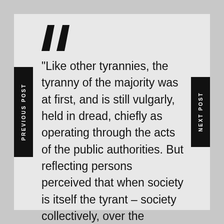[Figure (illustration): Large decorative opening quotation marks in black]
“Like other tyrannies, the tyranny of the majority was at first, and is still vulgarly, held in dread, chiefly as operating through the acts of the public authorities. But reflecting persons perceived that when society is itself the tyrant – society collectively, over the separate individuals who compose it – its means of tyrannizing are not restricted to the acts which it may do by the hands of its political functionaries.”
PREVIOUS POST
NEXT POST